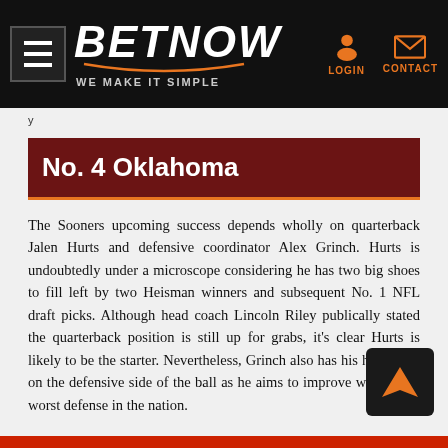BETNOW — WE MAKE IT SIMPLE
No. 4 Oklahoma
The Sooners upcoming success depends wholly on quarterback Jalen Hurts and defensive coordinator Alex Grinch. Hurts is undoubtedly under a microscope considering he has two big shoes to fill left by two Heisman winners and subsequent No. 1 NFL draft picks. Although head coach Lincoln Riley publically stated the quarterback position is still up for grabs, it's clear Hurts is likely to be the starter. Nevertheless, Grinch also has his hands full on the defensive side of the ball as he aims to improve what is the worst defense in the nation.